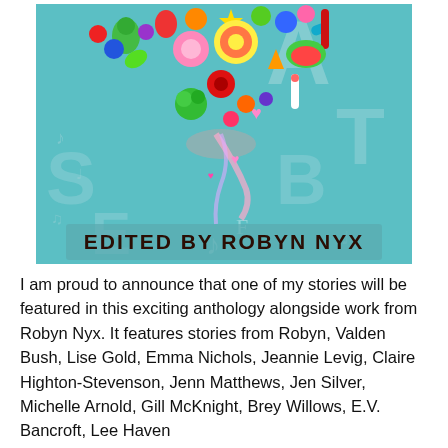[Figure (illustration): Book cover image showing a colorful heart shape made of assorted candies and sweets on a teal/turquoise background with decorative letter graphics. Text at bottom reads 'EDITED BY ROBYN NYX'.]
I am proud to announce that one of my stories will be featured in this exciting anthology alongside work from Robyn Nyx. It features stories from Robyn, Valden Bush, Lise Gold, Emma Nichols, Jeannie Levig, Claire Highton-Stevenson, Jenn Matthews, Jen Silver, Michelle Arnold, Gill McKnight, Brey Willows, E.V. Bancroft, Lee Haven